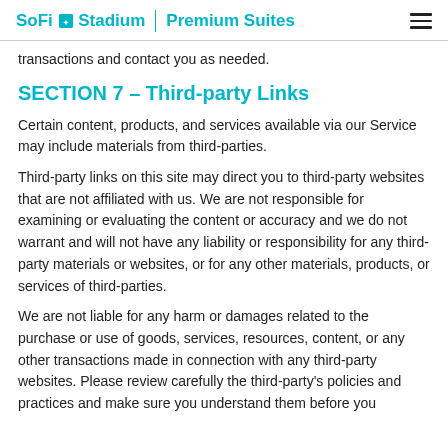SoFi Stadium | Premium Suites
transactions and contact you as needed.
SECTION 7 – Third-party Links
Certain content, products, and services available via our Service may include materials from third-parties.
Third-party links on this site may direct you to third-party websites that are not affiliated with us. We are not responsible for examining or evaluating the content or accuracy and we do not warrant and will not have any liability or responsibility for any third-party materials or websites, or for any other materials, products, or services of third-parties.
We are not liable for any harm or damages related to the purchase or use of goods, services, resources, content, or any other transactions made in connection with any third-party websites. Please review carefully the third-party's policies and practices and make sure you understand them before you